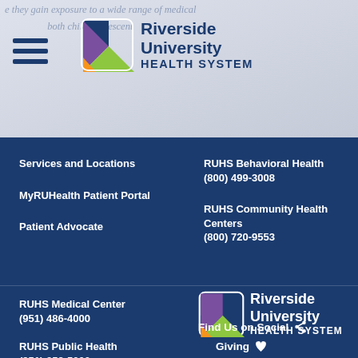[Figure (logo): Riverside University Health System logo with multicolor geometric icon and dark blue text, shown in website header with hamburger menu icon]
Services and Locations
MyRUHealth Patient Portal
Patient Advocate
RUHS Behavioral Health
(800) 499-3008
RUHS Community Health Centers
(800) 720-9553
RUHS Medical Center
(951) 486-4000
RUHS Public Health
(951) 358-5000
[Figure (logo): Riverside University Health System white logo on dark blue background]
Find Us on Social
Giving